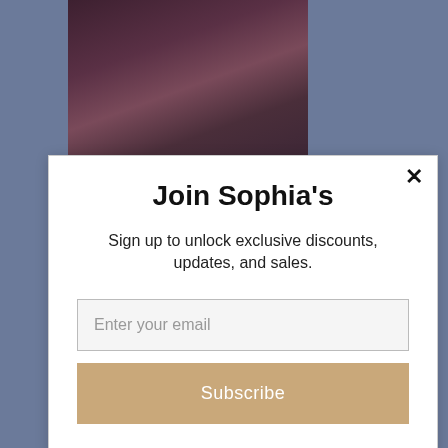[Figure (photo): Background showing a dark draped fabric at top and a mannequin wearing vintage clothing at bottom, with steel-blue background]
Join Sophia's
Sign up to unlock exclusive discounts, updates, and sales.
Enter your email
Subscribe
powered by MailMunch